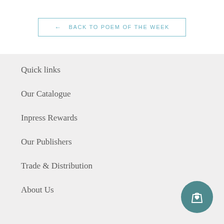← BACK TO POEM OF THE WEEK
Quick links
Our Catalogue
Inpress Rewards
Our Publishers
Trade & Distribution
About Us
[Figure (illustration): Shopping bag with heart icon in a teal circular button]